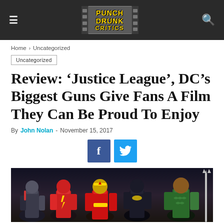Punch Drunk Critics
Home › Uncategorized
Uncategorized
Review: ‘Justice League’, DC’s Biggest Guns Give Fans A Film They Can Be Proud To Enjoy
By John Nolan - November 15, 2017
[Figure (screenshot): Social share buttons: Facebook (blue) and Twitter (light blue)]
[Figure (photo): Justice League movie promotional photo showing the team of heroes including Cyborg, The Flash, Wonder Woman, Batman, and Aquaman posing together]